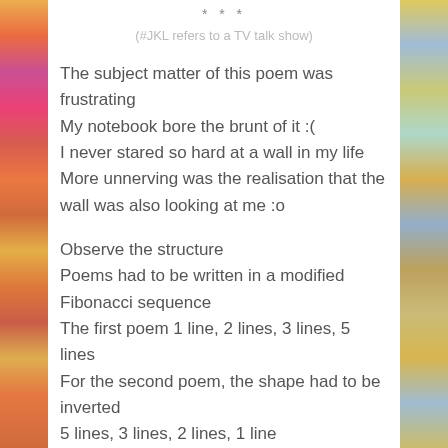* * *
(#JKL refers to a TV talk show)
The subject matter of this poem was frustrating
My notebook bore the brunt of it :(
I never stared so hard at a wall in my life
More unnerving was the realisation that the wall was also looking at me :o
Observe the structure
Poems had to be written in a modified Fibonacci sequence
The first poem 1 line, 2 lines, 3 lines, 5 lines
For the second poem, the shape had to be inverted
5 lines, 3 lines, 2 lines, 1 line